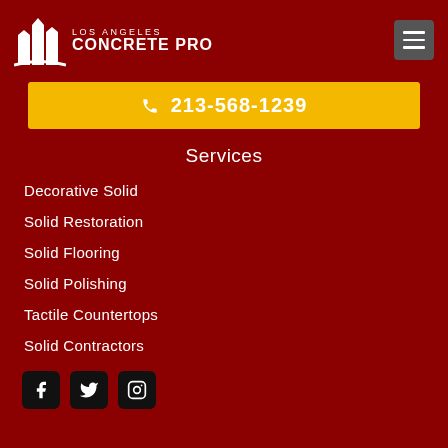[Figure (logo): Los Angeles Concrete Pro logo with white building icon and text]
213-568-1239
Services
Decorative Solid
Solid Restoration
Solid Flooring
Solid Polishing
Tactile Countertops
Solid Contractors
[Figure (other): Social media icons: Facebook, Twitter, Instagram]